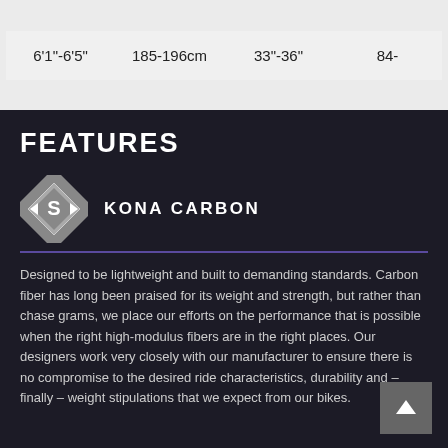| 6'1"-6'5" | 185-196cm | 33"-36" | 84- |
FEATURES
[Figure (logo): Kona Carbon diamond-shaped logo with stylized S inside]
KONA CARBON
Designed to be lightweight and built to demanding standards. Carbon fiber has long been praised for its weight and strength, but rather than chase grams, we place our efforts on the performance that is possible when the right high-modulus fibers are in the right places. Our designers work very closely with our manufacturer to ensure there is no compromise to the desired ride characteristics, durability and – finally – weight stipulations that we expect from our bikes.